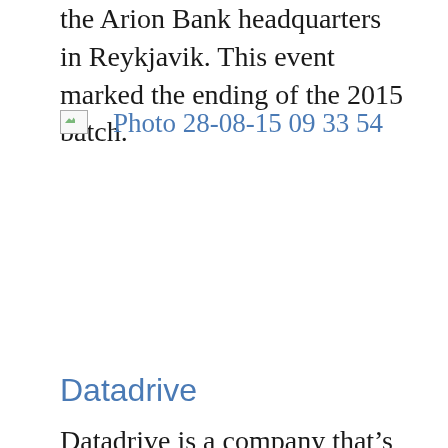the Arion Bank headquarters in Reykjavik. This event marked the ending of the 2015 batch.
[Figure (photo): A broken/missing image placeholder with caption 'Photo 28-08-15 09 33 54']
Photo 28-08-15 09 33 54
Datadrive
Datadrive is a company that’s adding big data to